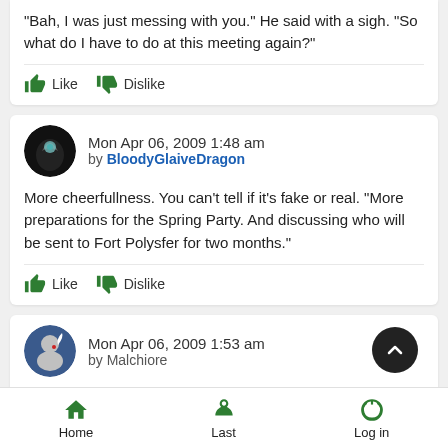"Bah, I was just messing with you." He said with a sigh. "So what do I have to do at this meeting again?"
Like  Dislike
Mon Apr 06, 2009 1:48 am by BloodyGlaiveDragon
More cheerfullness. You can't tell if it's fake or real. "More preparations for the Spring Party. And discussing who will be sent to Fort Polysfer for two months."
Like  Dislike
Mon Apr 06, 2009 1:53 am by Malchiore
"Bah, is that all?!" He asked. "Can't you boys up a pirate or..." (truncated)
Home  Last  Log in